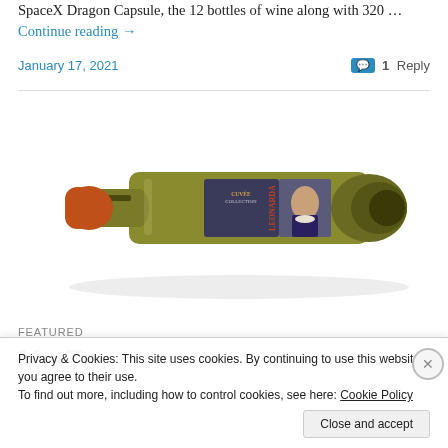SpaceX Dragon Capsule, the 12 bottles of wine along with 320 … Continue reading →
January 17, 2021   💬 1 Reply
[Figure (photo): A green wine bottle lying on its side with an orange wax top. The label shows 'Cuvée Collection' with a portrait of a historical figure in period costume.]
FEATURED
Мо... [truncated featured title]
Privacy & Cookies: This site uses cookies. By continuing to use this website, you agree to their use. To find out more, including how to control cookies, see here: Cookie Policy
Close and accept